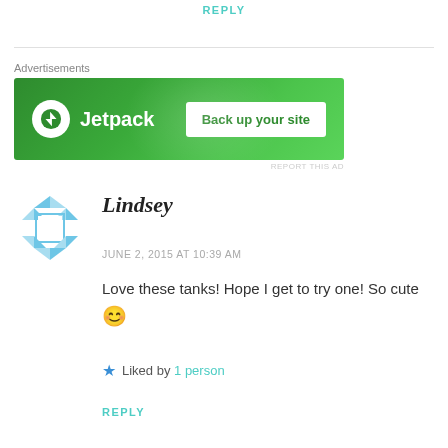REPLY
[Figure (screenshot): Jetpack advertisement banner with logo and 'Back up your site' button on green background]
REPORT THIS AD
Lindsey
JUNE 2, 2015 AT 10:39 AM
Love these tanks! Hope I get to try one! So cute 😊
★ Liked by 1 person
REPLY